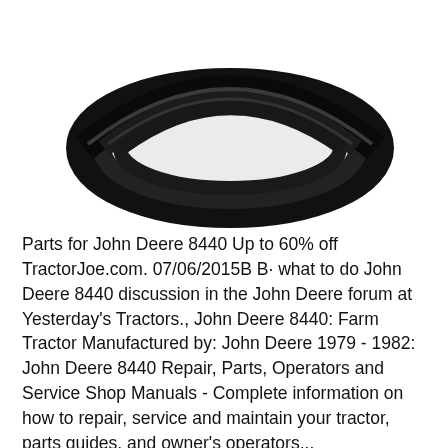[Figure (photo): A coiled black rubber hose or O-ring loop photographed against a white background, viewed from above.]
Parts for John Deere 8440 Up to 60% off TractorJoe.com. 07/06/2015B B· what to do John Deere 8440 discussion in the John Deere forum at Yesterday's Tractors., John Deere 8440: Farm Tractor Manufactured by: John Deere 1979 - 1982: John Deere 8440 Repair, Parts, Operators and Service Shop Manuals - Complete information on how to repair, service and maintain your tractor, parts guides, and owner's operators...